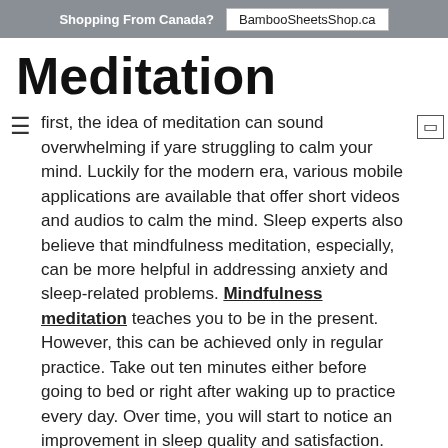Shopping From Canada?  BambooSheetsShop.ca
Meditation
first, the idea of meditation can sound overwhelming if you are struggling to calm your mind. Luckily for the modern era, various mobile applications are available that offer short videos and audios to calm the mind. Sleep experts also believe that mindfulness meditation, especially, can be more helpful in addressing anxiety and sleep-related problems. Mindfulness meditation teaches you to be in the present. However, this can be achieved only in regular practice. Take out ten minutes either before going to bed or right after waking up to practice every day. Over time, you will start to notice an improvement in sleep quality and satisfaction.
oid Stress Inducing Activities Before Bedtime